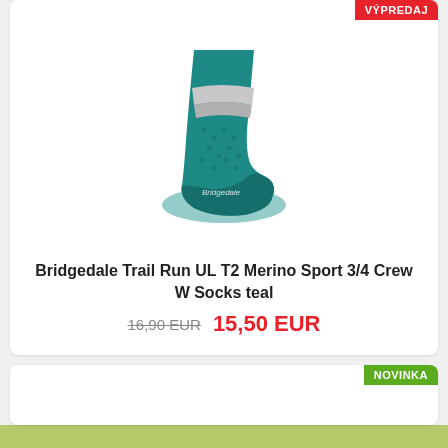[Figure (photo): Teal Bridgedale running sock on white background, shown from the side at an angle]
Bridgedale Trail Run UL T2 Merino Sport 3/4 Crew W Socks teal
16,90 EUR  15,50 EUR
NOVINKA
Súbory cookies používame výhradne pre účel skvalitnenia našich služieb; nikdy ich nepoužívame na účely reklamy alebo profilovania. Ak s použitím cookies nesúhlasíte, môžete zabrániť ukladaniu súborov cookies nastavením webového prehliadača. Ak tak